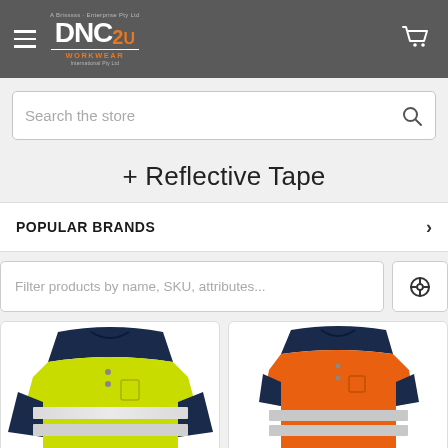[Figure (logo): DNC Workwear 2U logo on dark grey header with hamburger menu and cart icon]
Search the store
+ Reflective Tape
POPULAR BRANDS
Filter products by name, SKU, attributes...
[Figure (photo): Yellow-green hi-vis polo shirt with navy collar and reflective tape, long sleeve]
[Figure (photo): Orange hi-vis polo shirt with navy collar and reflective tape, short sleeve]